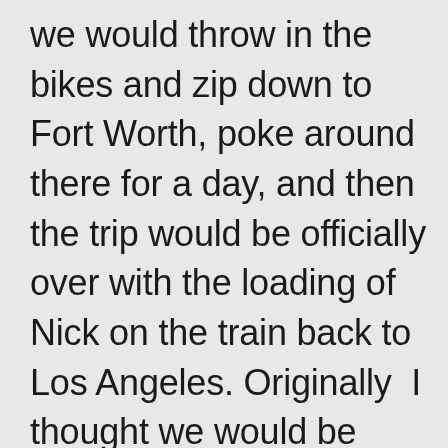we would throw in the bikes and zip down to  Fort Worth, poke around there for a day, and then the trip would be officially over with the loading of  Nick on the train back to Los Angeles. Originally  I thought we would be able to get to  Fort Worth entirely by pedaling, but work hours and